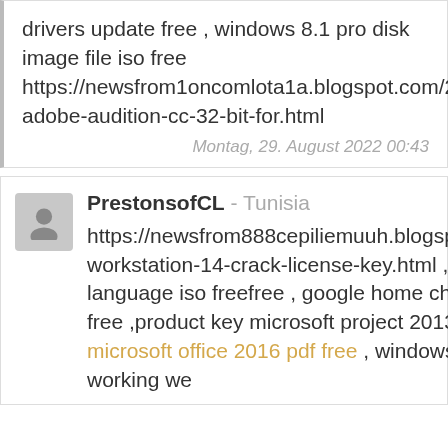drivers update free , windows 8.1 pro disk image file iso free https://newsfrom1oncomlota1a.blogspot.com/2022/08/download-adobe-audition-cc-32-bit-for.html
Montag, 29. August 2022 00:43
PrestonsofCL - Tunisia
https://newsfrom888cepiliemuuh.blogspot.com/2022/08/vmware-workstation-14-crack-license-key.html , windows 10 home single language iso freefree , google home chromecast for windows 10 free ,product key microsoft project 2013 freefree marquee series microsoft office 2016 pdf free , windows 10 mobile hotspot not working we